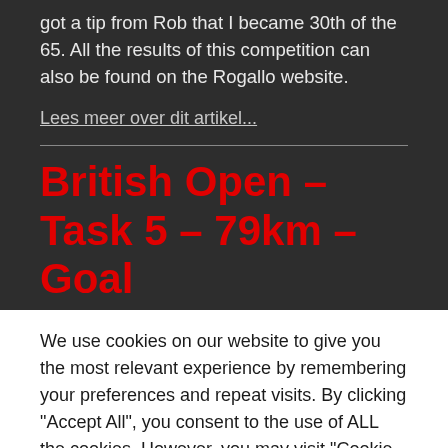got a tip from Rob that I became 30th of the 65. All the results of this competition can also be found on the Rogallo website.
Lees meer over dit artikel...
British Open – Task 5 – 79km – Goal
We use cookies on our website to give you the most relevant experience by remembering your preferences and repeat visits. By clicking "Accept All", you consent to the use of ALL the cookies. However, you may visit "Cookie Settings" to provide a controlled consent.
Cookie Settings | Accept All